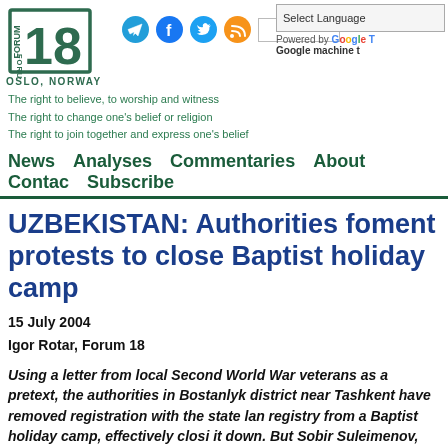[Figure (logo): Forum 18 logo with number 18 in green, Oslo Norway text below]
The right to believe, to worship and witness
The right to change one's belief or religion
The right to join together and express one's belief
News   Analyses   Commentaries   About   Contact   Subscribe
UZBEKISTAN: Authorities foment protests to close Baptist holiday camp
15 July 2004
Igor Rotar, Forum 18
Using a letter from local Second World War veterans as a pretext, the authorities in Bostanlyk district near Tashkent have removed registration with the state land registry from a Baptist holiday camp, effectively closing it down. But Sobir Suleimenov, assistant to the cou...